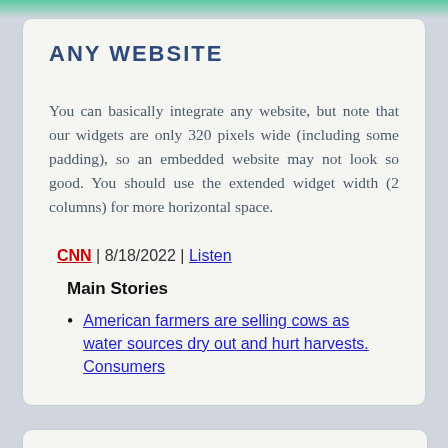ANY WEBSITE
You can basically integrate any website, but note that our widgets are only 320 pixels wide (including some padding), so an embedded website may not look so good. You should use the extended widget width (2 columns) for more horizontal space.
CNN | 8/18/2022 | Listen
Main Stories
American farmers are selling cows as water sources dry out and hurt harvests. Consumers ...